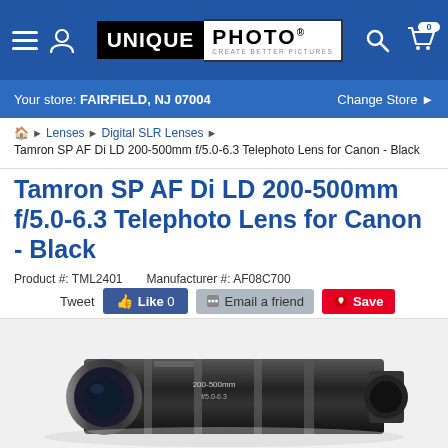[Figure (screenshot): Unique Photo website header with navigation bar showing hamburger menu, person icon, Unique Photo logo, search icon, and shopping cart]
Your store: FAIRFIELD, NJ 07004
Change Store ▶
🏠 ▶ Lenses ▶ Digital SLR Lenses ▶ Tamron SP AF Di LD 200-500mm f/5.0-6.3 Telephoto Lens for Canon - Black
Tamron SP AF Di LD 200-500mm f/5.0-6.3 Telephoto Lens for Canon - Black
Product #: TML2401    Manufacturer #: AF08C700
Tweet  Like 0  Email a friend  Save
[Figure (photo): Tamron SP AF Di LD 200-500mm telephoto lens in black, shown at an angle]